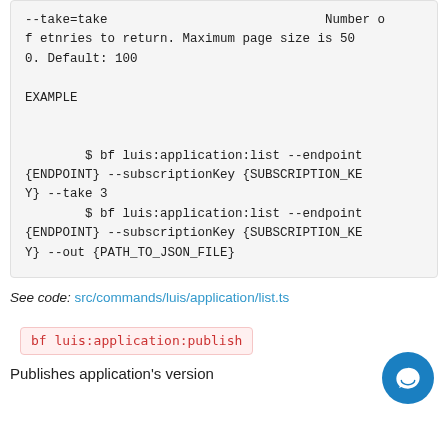--take=take                             Number of etnries to return. Maximum page size is 500. Default: 100

EXAMPLE


        $ bf luis:application:list --endpoint {ENDPOINT} --subscriptionKey {SUBSCRIPTION_KEY} --take 3
        $ bf luis:application:list --endpoint {ENDPOINT} --subscriptionKey {SUBSCRIPTION_KEY} --out {PATH_TO_JSON_FILE}
See code: src/commands/luis/application/list.ts
bf luis:application:publish
Publishes application's version